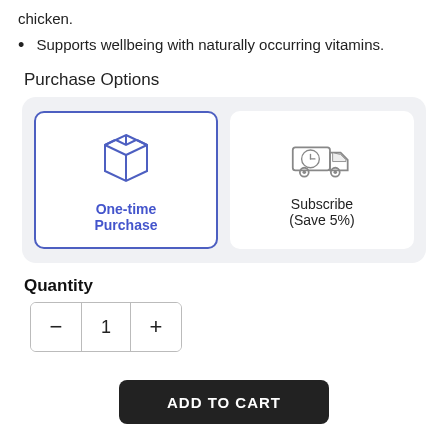chicken.
Supports wellbeing with naturally occurring vitamins.
Purchase Options
[Figure (infographic): Two purchase option cards inside a rounded gray box. Left card (selected, blue border): open box icon in blue, label 'One-time Purchase' in blue bold. Right card: delivery truck with clock icon in gray, label 'Subscribe (Save 5%)' in dark gray.]
Quantity
[Figure (infographic): Quantity selector with minus button, value '1', and plus button in a bordered rounded rectangle.]
ADD TO CART